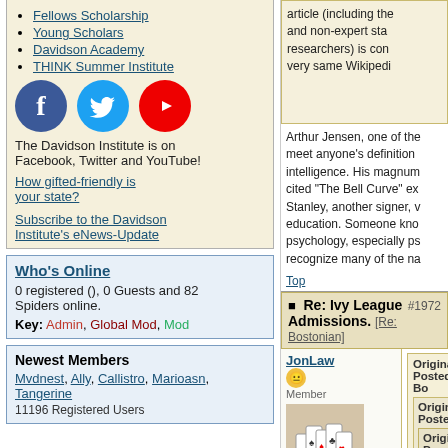Fellows Scholarship
Young Scholars
Davidson Academy
THINK Summer Institute
[Figure (illustration): Social media icons: Facebook (blue circle), Twitter (light blue circle), YouTube (red circle)]
The Davidson Institute is on Facebook, Twitter and YouTube!
How gifted-friendly is your state?
Subscribe to the Davidson Institute's eNews-Update
Who's Online
0 registered (), 0 Guests and 82 Spiders online.
Key: Admin, Global Mod, Mod
Newest Members
Mvdnest, Ally, Callistro, Marioasn, Tangerine
11196 Registered Users
article (including the and non-expert sta researchers) is con very same Wikipedi
Arthur Jensen, one of the meet anyone's definition intelligence. His magnum cited "The Bell Curve" ex Stanley, another signer, v education. Someone kno psychology, especially ps recognize many of the na
Top
Re: Ivy League Admissions.
[Re: Bostonian]
#1972
JonLaw
Member
Registered: 07/29/11
Posts: 2007
Loc: The Sub-
Originally Posted By: Bo
Originally Posted B
Originally Po By: Bostoni
Many researchers thought it v Mainstrean